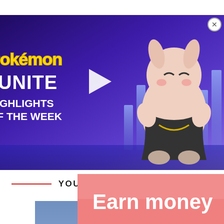[Figure (screenshot): Pokemon Unite advertisement overlay showing Pokemon Unite Highlights of the Week with a Pokemon character on purple background, with close button in top right corner]
MINECRAFT
YOU MAY ALSO LIKE
[Figure (screenshot): Video game screenshot showing anime-style RPG characters in a town setting. Players named Melo and Slayer visible.]
[Figure (screenshot): Bottom advertisement banner with pink/salmon background showing 'Earn money' text with coin graphic and close button]